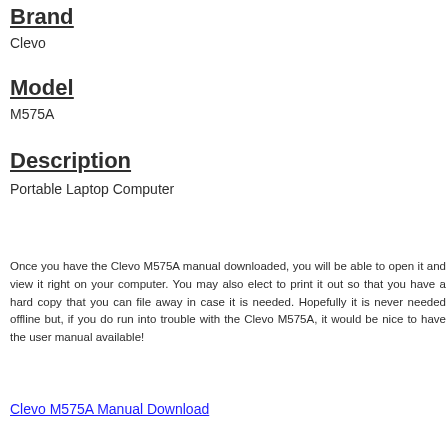Brand
Clevo
Model
M575A
Description
Portable Laptop Computer
Once you have the Clevo M575A manual downloaded, you will be able to open it and view it right on your computer. You may also elect to print it out so that you have a hard copy that you can file away in case it is needed. Hopefully it is never needed offline but, if you do run into trouble with the Clevo M575A, it would be nice to have the user manual available!
Clevo M575A Manual Download